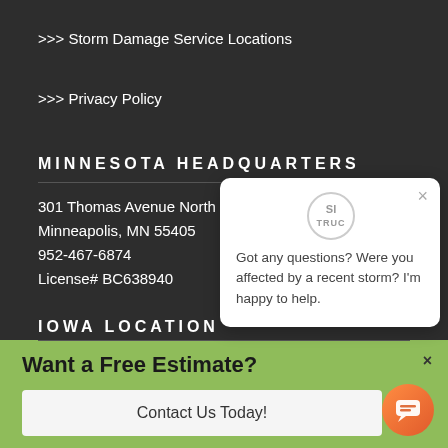>>> Storm Damage Service Locations
>>> Privacy Policy
MINNESOTA HEADQUARTERS
301 Thomas Avenue North
Minneapolis, MN 55405
952-467-6874
License# BC638940
IOWA LOCATION
[Figure (screenshot): Chat popup widget with logo showing 'SI TRUC' text inside a circle, message text reading 'Got any questions? Were you affected by a recent storm? I'm happy to help.' with a close (×) button.]
Want a Free Estimate?
Contact Us Today!